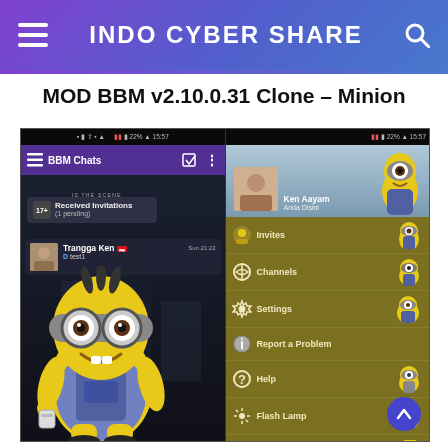INDO CYBER SHARE
MOD BBM v2.10.0.31 Clone - Minion
[Figure (screenshot): Two side-by-side Android screenshots of a Minion-themed BBM (BlackBerry Messenger) clone app. Left screenshot shows BBM Chats screen with 'Received Invitations (1 pending)' and a chat entry from 'Trangga Ken' with message 'test1', with a large Minion character in the foreground. Right screenshot shows a profile/menu screen for 'Ken Aayam' with menu items: Invites, Channels, Settings, Report a Problem, Help, Flash Lamp, Lock, Post Image, with Minion characters decorating the olive/khaki colored menu background.]